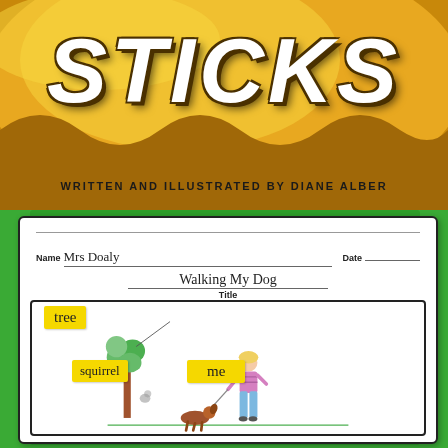[Figure (photo): Book cover showing the word STICKS in large white bold italic letters on a golden/amber background with wavy texture. Below the title it reads: WRITTEN AND ILLUSTRATED BY DIANE ALBER]
[Figure (photo): A children's worksheet on a green background showing: Name: Mrs Doaly, Date (blank), Title: Walking My Dog. Below is a drawing box with yellow sticky labels reading 'tree', 'squirrel', and 'me'. Inside the box is a child's crayon drawing of a tree, a squirrel, a girl (me) walking a dog on a leash, with a green ground line.]